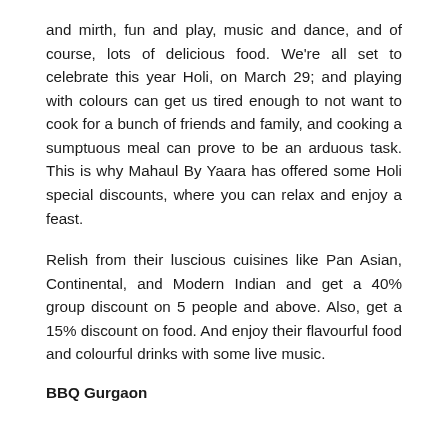and mirth, fun and play, music and dance, and of course, lots of delicious food. We're all set to celebrate this year Holi, on March 29; and playing with colours can get us tired enough to not want to cook for a bunch of friends and family, and cooking a sumptuous meal can prove to be an arduous task. This is why Mahaul By Yaara has offered some Holi special discounts, where you can relax and enjoy a feast.
Relish from their luscious cuisines like Pan Asian, Continental, and Modern Indian and get a 40% group discount on 5 people and above. Also, get a 15% discount on food. And enjoy their flavourful food and colourful drinks with some live music.
BBQ Gurgaon